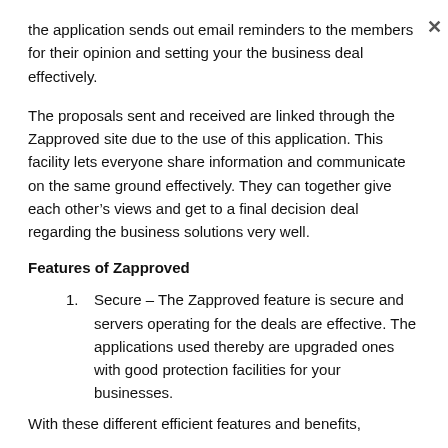the application sends out email reminders to the members for their opinion and setting your the business deal effectively.
The proposals sent and received are linked through the Zapproved site due to the use of this application. This facility lets everyone share information and communicate on the same ground effectively. They can together give each other's views and get to a final decision deal regarding the business solutions very well.
Features of Zapproved
Secure – The Zapproved feature is secure and servers operating for the deals are effective. The applications used thereby are upgraded ones with good protection facilities for your businesses.
With these different efficient features and benefits, Zapproved